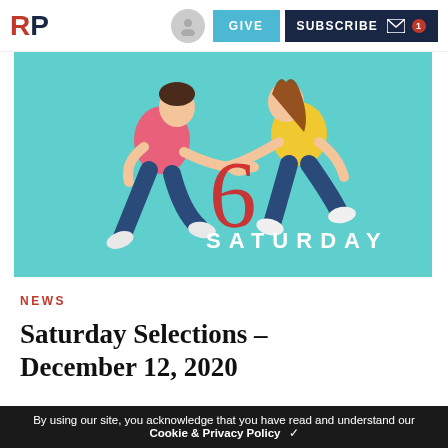RP | GIVE | SUBSCRIBE
[Figure (photo): Two people jumping against a teal background, holding hands, with a large red '6' and the word 'SATURDAY' overlaid in white text.]
NEWS
Saturday Selections – December 12, 2020
By using our site, you acknowledge that you have read and understand our Cookie & Privacy Policy ✓